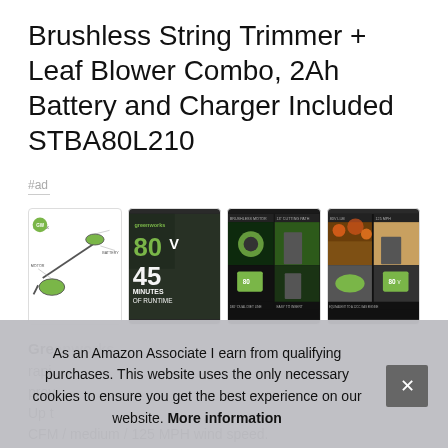Brushless String Trimmer + Leaf Blower Combo, 2Ah Battery and Charger Included STBA80L210
#ad
[Figure (photo): Four product images showing the Greenworks 80V brushless string trimmer and leaf blower combo: (1) labeled diagram/spec sheet on white background, (2) dark background with '80V' and '45 MINUTES OF RUNTIME' text in green, (3) product feature grid showing string trimmer head, trimmer in use, dual line and charger photos, (4) another feature grid showing outdoor autumn scene and blower detail with '80V' branding]
Greenworks [text partially obscured by cookie banner] rapidly [partially obscured] provides [partially obscured] Up to [partially obscured] CFM / medium / 125 MPH wind speed.
As an Amazon Associate I earn from qualifying purchases. This website uses the only necessary cookies to ensure you get the best experience on our website. More information